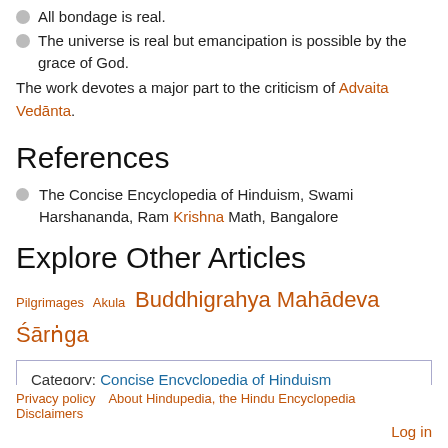All bondage is real.
The universe is real but emancipation is possible by the grace of God.
The work devotes a major part to the criticism of Advaita Vedānta.
References
The Concise Encyclopedia of Hinduism, Swami Harshananda, Ram Krishna Math, Bangalore
Explore Other Articles
Pilgrimages  Akula  Buddhigrahya Mahādeva Śārṅga
Category: Concise Encyclopedia of Hinduism
Privacy policy   About Hindupedia, the Hindu Encyclopedia   Disclaimers   Log in